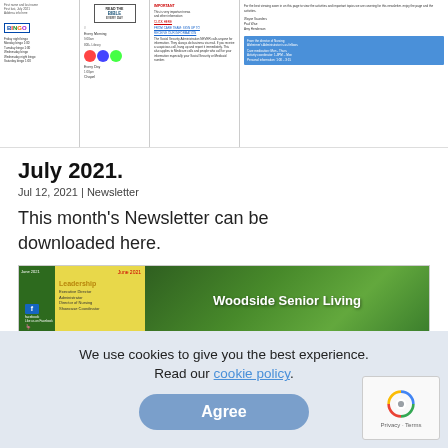[Figure (screenshot): Preview thumbnail of a newsletter page showing BINGO graphic, Read the Bible Every Day image, activity schedule columns, and informational text columns with a blue info box]
July 2021.
Jul 12, 2021 | Newsletter
This month's Newsletter can be downloaded here.
[Figure (screenshot): Preview thumbnail of Woodside Senior Living June 2021 newsletter showing Facebook like icon, Leadership section in yellow panel, and forest path image with 'Woodside Senior Living' text]
We use cookies to give you the best experience. Read our cookie policy.
Agree
[Figure (logo): reCAPTCHA logo with Privacy and Terms labels]